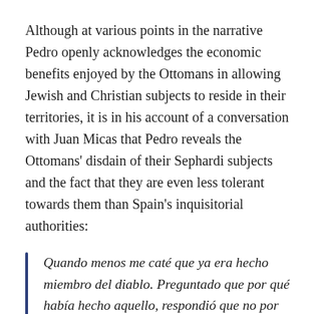Although at various points in the narrative Pedro openly acknowledges the economic benefits enjoyed by the Ottomans in allowing Jewish and Christian subjects to reside in their territories, it is in his account of a conversation with Juan Micas that Pedro reveals the Ottomans' disdain of their Sephardi subjects and the fact that they are even less tolerant towards them than Spain's inquisitorial authorities:
Quando menos me caté que ya era hecho miembro del diablo. Preguntado que por qué había hecho aquello, respondió que no por más de no estar subjeto a las Inquisiciones d'España; a lo qual yo le dixe: Pues hagos saver que mucho mayor la ternéis aquí si bibís, lo qual no penséis que será mucho